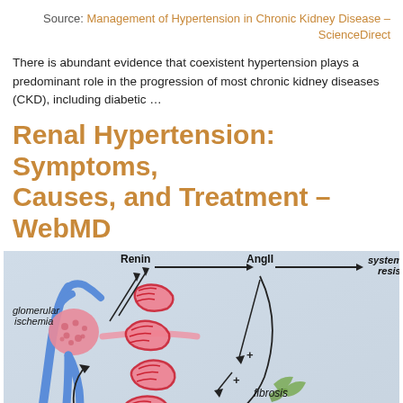Source: Management of Hypertension in Chronic Kidney Disease – ScienceDirect
There is abundant evidence that coexistent hypertension plays a predominant role in the progression of most chronic kidney diseases (CKD), including diabetic …
Renal Hypertension: Symptoms, Causes, and Treatment – WebMD
[Figure (illustration): Medical diagram showing the renin-angiotensin pathway and its effects on systemic vascular resistance, glomerular ischemia, fibrosis, cyst proliferation, and sodium regulation. Shows kidney glomerulus with blue vascular structures, red tubular structures (cysts), green leaf-shaped fibrosis indicators. Arrows connect Renin → AngII → systemic vascular resistance, with feedback loops to glomerular ischemia, fibrosis, and cyst proliferation. Labels: Renin, AngII, systemic vascular resistance, glomerular ischemia, fibrosis, cyst proliferation, sodium (partially visible), plus signs indicating stimulation.]